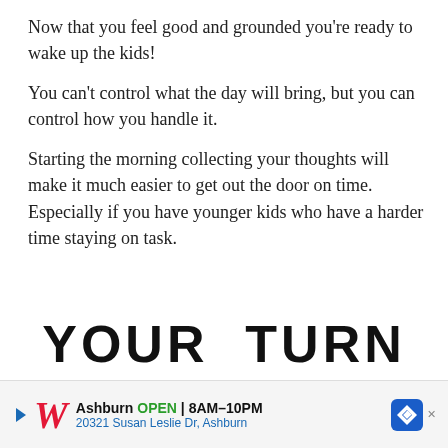Now that you feel good and grounded you're ready to wake up the kids!
You can't control what the day will bring, but you can control how you handle it.
Starting the morning collecting your thoughts will make it much easier to get out the door on time. Especially if you have younger kids who have a harder time staying on task.
YOUR TURN
What are your non-negotiable
[Figure (other): Walgreens advertisement banner: Ashburn OPEN 8AM-10PM, 20321 Susan Leslie Dr, Ashburn]